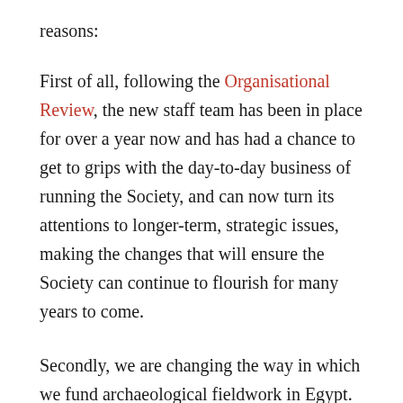reasons:
First of all, following the Organisational Review, the new staff team has been in place for over a year now and has had a chance to get to grips with the day-to-day business of running the Society, and can now turn its attentions to longer-term, strategic issues, making the changes that will ensure the Society can continue to flourish for many years to come.
Secondly, we are changing the way in which we fund archaeological fieldwork in Egypt. During the last couple of years we have been asking ourselves some fundamental questions about the nature and purpose of what we are doing in Egypt, and how we can continue